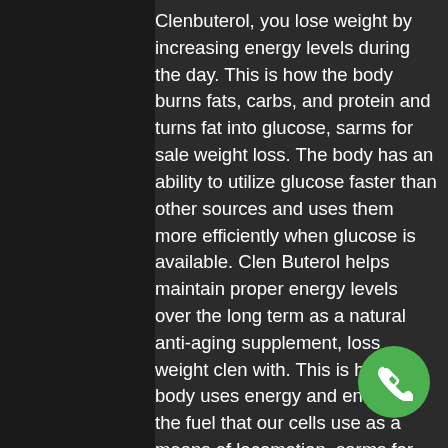Clenbuterol, you lose weight by increasing energy levels during the day. This is how the body burns fats, carbs, and protein and turns fat into glucose, sarms for sale weight loss. The body has an ability to utilize glucose faster than other sources and uses them more efficiently when glucose is available. Clen Buterol helps maintain proper energy levels over the long term as a natural anti-aging supplement, loss weight clen with. This is how the body uses energy and energy is the fuel that our cells use as a means of locomotion, sarms for weight loss reddit. Clenbuterol also works as a natural lipid-burning enzyme, helping the body burn stored fats, including cholesterol, into sugar.
What To Consider With Clenbuterol What weight gain or loss is possible, weight loss with clen? Most people that try Clen Buterol experience weight loss over a period of
[Figure (other): Green circular phone/call button icon in the bottom right area of the page]